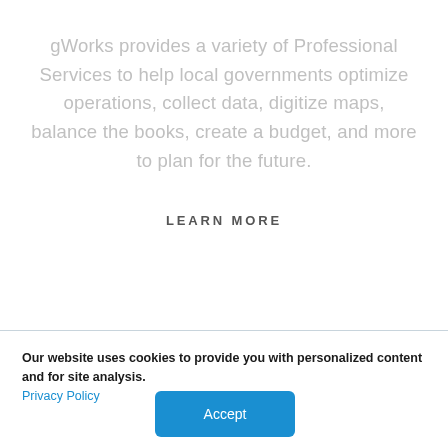gWorks provides a variety of Professional Services to help local governments optimize operations, collect data, digitize maps, balance the books, create a budget, and more to plan for the future.
LEARN MORE
Our website uses cookies to provide you with personalized content and for site analysis. Privacy Policy
Accept